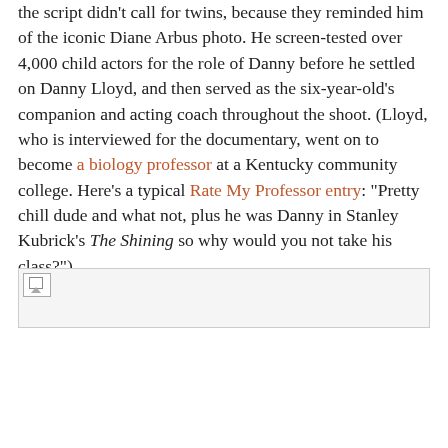the script didn't call for twins, because they reminded him of the iconic Diane Arbus photo. He screen-tested over 4,000 child actors for the role of Danny before he settled on Danny Lloyd, and then served as the six-year-old's companion and acting coach throughout the shoot. (Lloyd, who is interviewed for the documentary, went on to become a biology professor at a Kentucky community college. Here's a typical Rate My Professor entry: "Pretty chill dude and what not, plus he was Danny in Stanley Kubrick's The Shining so why would you not take his class?")
[Figure (photo): Broken/unloaded image placeholder at bottom of page]